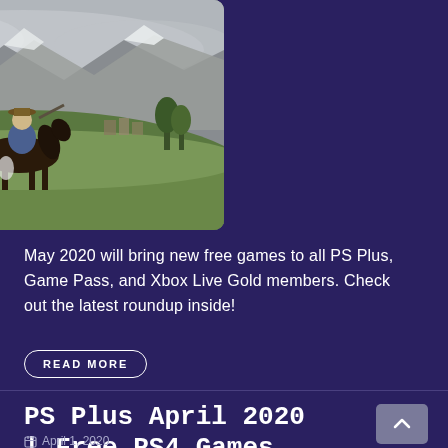[Figure (photo): A cowboy on horseback riding through a lush green mountainous landscape, misty mountains in background — screenshot from a video game (Red Dead Redemption 2)]
May 2020 will bring new free games to all PS Plus, Game Pass, and Xbox Live Gold members. Check out the latest roundup inside!
READ MORE
PS Plus April 2020 | Free PS4 Games Announced
April 1, 2020